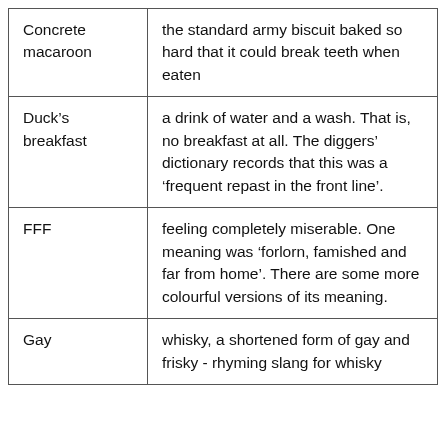| Concrete macaroon | the standard army biscuit baked so hard that it could break teeth when eaten |
| Duck’s breakfast | a drink of water and a wash. That is, no breakfast at all. The diggers’ dictionary records that this was a ‘frequent repast in the front line’. |
| FFF | feeling completely miserable. One meaning was ‘forlorn, famished and far from home’. There are some more colourful versions of its meaning. |
| Gay | whisky, a shortened form of gay and frisky - rhyming slang for whisky |